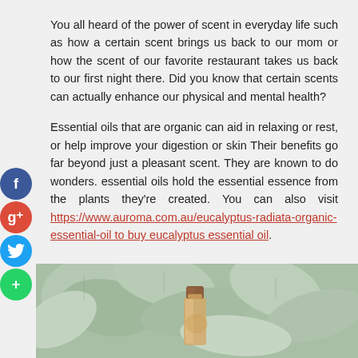You all heard of the power of scent in everyday life such as how a certain scent brings us back to our mom or how the scent of our favorite restaurant takes us back to our first night there. Did you know that certain scents can actually enhance our physical and mental health?
Essential oils that are organic can aid in relaxing or rest, or help improve your digestion or skin Their benefits go far beyond just a pleasant scent. They are known to do wonders. essential oils hold the essential essence from the plants they're created. You can also visit https://www.auroma.com.au/eucalyptus-radiata-organic-essential-oil to buy eucalyptus essential oil.
[Figure (photo): Photo of eucalyptus leaves with a small glass bottle with a cork stopper in the center]